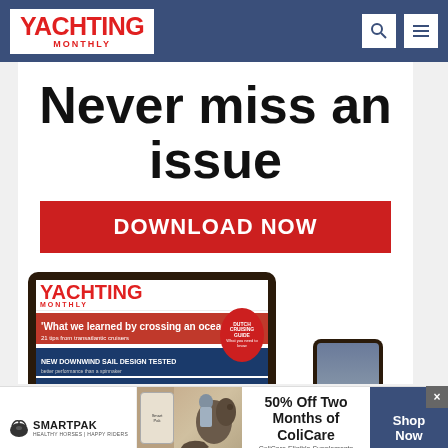YACHTING MONTHLY
[Figure (infographic): Yachting Monthly subscription advertisement showing 'Never miss an issue' headline with DOWNLOAD NOW button and tablet/phone device mockup showing magazine cover]
[Figure (infographic): SmartPak advertisement banner: '50% Off Two Months of ColiCare - ColiCare Eligible Supplements - CODE: COLICARE10' with horse and rider image and Shop Now button]